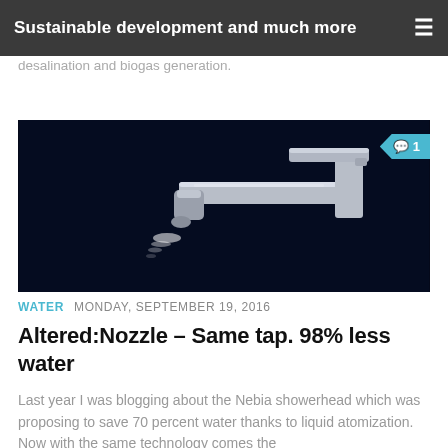Sustainable development and much more
desalination and biogas generation.
[Figure (photo): Close-up photo of a modern chrome bathroom faucet/tap against a dark navy background, with light sparkling at the nozzle tip. A teal comment badge with '1' is visible in the top-right corner of the image.]
WATER  MONDAY, SEPTEMBER 19, 2016
Altered:Nozzle – Same tap. 98% less water
Last year I was blogging about the Nebia showerhead which was proposing to save 70 percent water thanks to liquid atomization. Now with the same technology comes the